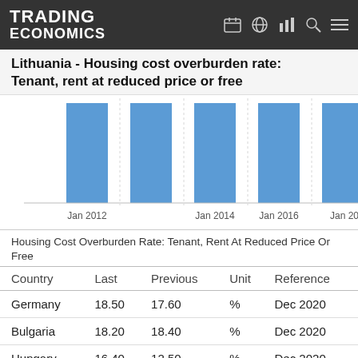TRADING ECONOMICS
Lithuania - Housing cost overburden rate: Tenant, rent at reduced price or free
[Figure (bar-chart): Lithuania - Housing cost overburden rate: Tenant, rent at reduced price or free]
Housing Cost Overburden Rate: Tenant, Rent At Reduced Price Or Free
| Country | Last | Previous | Unit | Reference |
| --- | --- | --- | --- | --- |
| Germany | 18.50 | 17.60 | % | Dec 2020 |
| Bulgaria | 18.20 | 18.40 | % | Dec 2020 |
| Hungary | 16.40 | 12.50 | % | Dec 2020 |